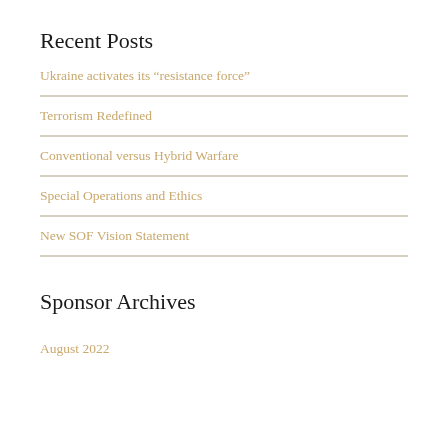Recent Posts
Ukraine activates its “resistance force”
Terrorism Redefined
Conventional versus Hybrid Warfare
Special Operations and Ethics
New SOF Vision Statement
Sponsor
Archives
August 2022